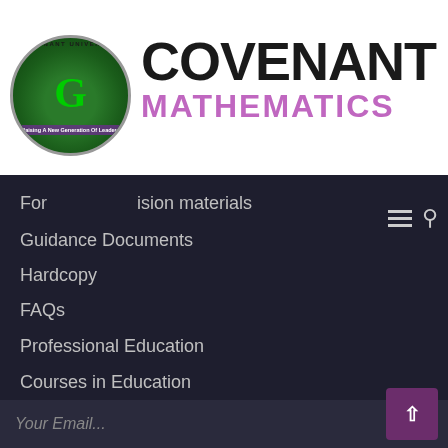[Figure (logo): Covenant University circular logo with globe and green G letter, text arc reading COVENANT UNIVERSITY]
COVENANT
MATHEMATICS
For ... ision materials
Guidance Documents
Hardcopy
FAQs
Professional Education
Courses in Education
NEWSLETTER
Enter your email and we'll send you more information
Your Email...